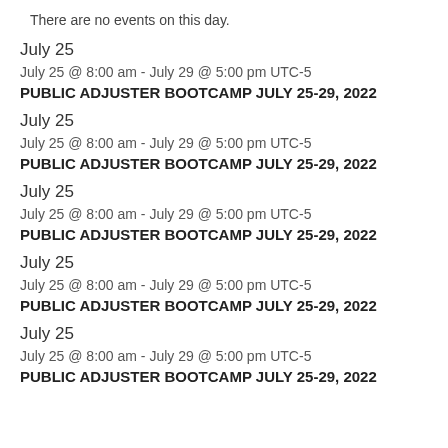There are no events on this day.
July 25
July 25 @ 8:00 am - July 29 @ 5:00 pm UTC-5
PUBLIC ADJUSTER BOOTCAMP JULY 25-29, 2022
July 25
July 25 @ 8:00 am - July 29 @ 5:00 pm UTC-5
PUBLIC ADJUSTER BOOTCAMP JULY 25-29, 2022
July 25
July 25 @ 8:00 am - July 29 @ 5:00 pm UTC-5
PUBLIC ADJUSTER BOOTCAMP JULY 25-29, 2022
July 25
July 25 @ 8:00 am - July 29 @ 5:00 pm UTC-5
PUBLIC ADJUSTER BOOTCAMP JULY 25-29, 2022
July 25
July 25 @ 8:00 am - July 29 @ 5:00 pm UTC-5
PUBLIC ADJUSTER BOOTCAMP JULY 25-29, 2022